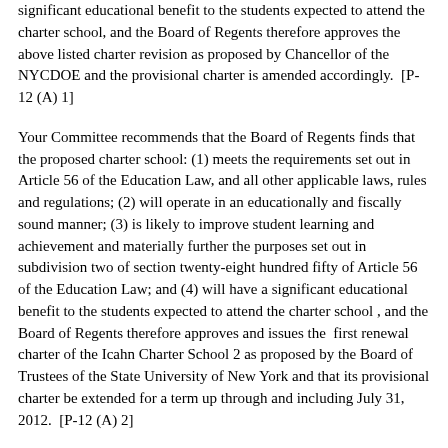significant educational benefit to the students expected to attend the charter school, and the Board of Regents therefore approves the above listed charter revision as proposed by Chancellor of the NYCDOE and the provisional charter is amended accordingly.  [P-12 (A) 1]
Your Committee recommends that the Board of Regents finds that the proposed charter school: (1) meets the requirements set out in Article 56 of the Education Law, and all other applicable laws, rules and regulations; (2) will operate in an educationally and fiscally sound manner; (3) is likely to improve student learning and achievement and materially further the purposes set out in subdivision two of section twenty-eight hundred fifty of Article 56 of the Education Law; and (4) will have a significant educational benefit to the students expected to attend the charter school , and the Board of Regents therefore approves and issues the  first renewal charter of the Icahn Charter School 2 as proposed by the Board of Trustees of the State University of New York and that its provisional charter be extended for a term up through and including July 31, 2012.  [P-12 (A) 2]
The Committee requested that future charter school revision and renewal items include a description of the school's student performance compared to that of other schools in the district.